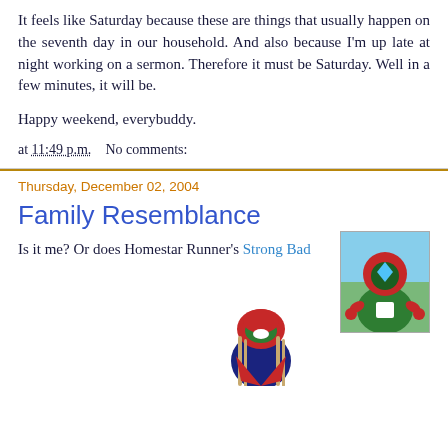It feels like Saturday because these are things that usually happen on the seventh day in our household. And also because I'm up late at night working on a sermon. Therefore it must be Saturday. Well in a few minutes, it will be.
Happy weekend, everybuddy.
at 11:49 p.m.   No comments:
Thursday, December 02, 2004
Family Resemblance
[Figure (illustration): Illustration of Strong Bad character from Homestar Runner, a cartoon character wearing a red and green mask/costume]
Is it me? Or does Homestar Runner's Strong Bad
[Figure (illustration): Partial illustration of another cartoon character at the bottom of the page]